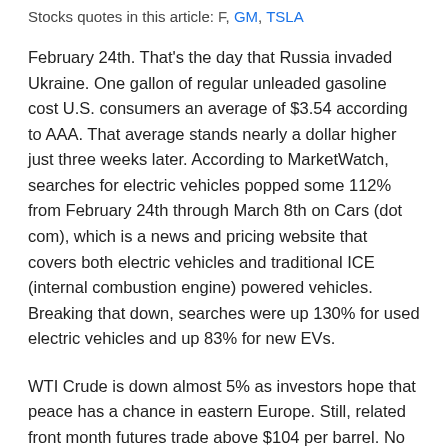Stocks quotes in this article: F, GM, TSLA
February 24th. That's the day that Russia invaded Ukraine. One gallon of regular unleaded gasoline cost U.S. consumers an average of $3.54 according to AAA. That average stands nearly a dollar higher just three weeks later. According to MarketWatch, searches for electric vehicles popped some 112% from February 24th through March 8th on Cars (dot com), which is a news and pricing website that covers both electric vehicles and traditional ICE (internal combustion engine) powered vehicles. Breaking that down, searches were up 130% for used electric vehicles and up 83% for new EVs.
WTI Crude is down almost 5% as investors hope that peace has a chance in eastern Europe. Still, related front month futures trade above $104 per barrel. No wonder interest in electric vehicles is high. Interest was high before there even was a war that brought sanctions that ultimately impacted what had been the world's largest exporter of crude. Orders...